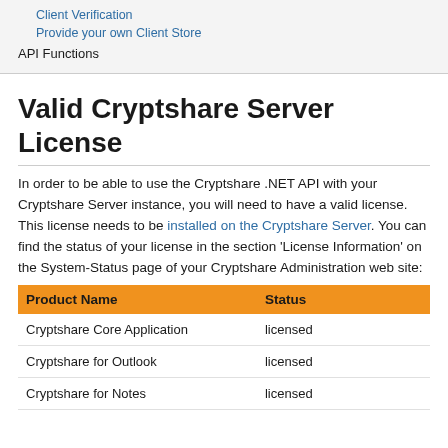Client Verification
Provide your own Client Store
API Functions
Valid Cryptshare Server License
In order to be able to use the Cryptshare .NET API with your Cryptshare Server instance, you will need to have a valid license. This license needs to be installed on the Cryptshare Server. You can find the status of your license in the section 'License Information' on the System-Status page of your Cryptshare Administration web site:
| Product Name | Status |
| --- | --- |
| Cryptshare Core Application | licensed |
| Cryptshare for Outlook | licensed |
| Cryptshare for Notes | licensed |